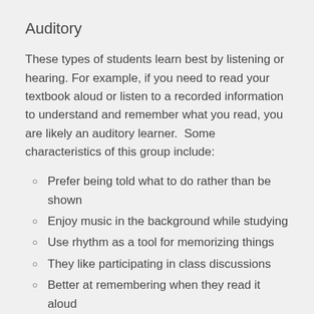Auditory
These types of students learn best by listening or hearing. For example, if you need to read your textbook aloud or listen to a recorded information to understand and remember what you read, you are likely an auditory learner.  Some characteristics of this group include:
Prefer being told what to do rather than be shown
Enjoy music in the background while studying
Use rhythm as a tool for memorizing things
They like participating in class discussions
Better at remembering when they read it aloud
Sometimes they hum or talk to themselves